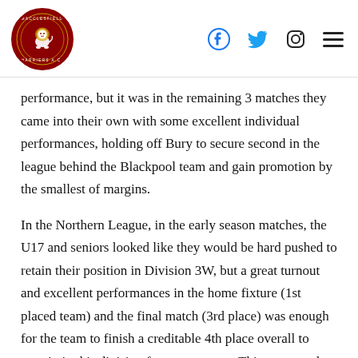Macclesfield Harriers AC logo with Facebook, Twitter, Instagram icons and hamburger menu
performance, but it was in the remaining 3 matches they came into their own with some excellent individual performances, holding off Bury to secure second in the league behind the Blackpool team and gain promotion by the smallest of margins.
In the Northern League, in the early season matches, the U17 and seniors looked like they would be hard pushed to retain their position in Division 3W, but a great turnout and excellent performances in the home fixture (1st placed team) and the final match (3rd place) was enough for the team to finish a creditable 4th place overall to remain in this division for next season.  This was a real family affair with parents and children making up the strong team together with coaches turning the tables on athletes by